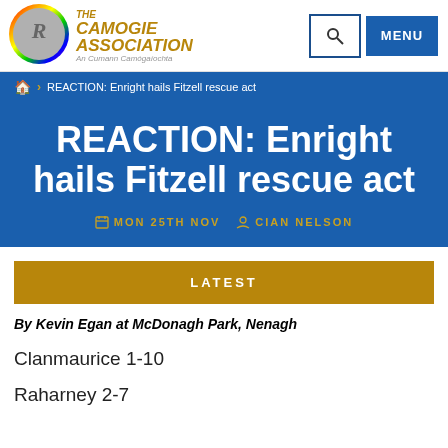[Figure (logo): The Camogie Association logo with rainbow border circle and gold italic text]
THE CAMOGIE ASSOCIATION An Cumann Camógaíochta
REACTION: Enright hails Fitzell rescue act
REACTION: Enright hails Fitzell rescue act
MON 25TH NOV  CIAN NELSON
LATEST
By Kevin Egan at McDonagh Park, Nenagh
Clanmaurice 1-10
Raharney 2-7